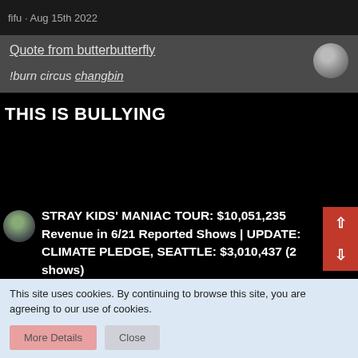fifu · Aug 15th 2022
Quote from butterbutterfly
!burn circus changbin
THIS IS BULLYING
STRAY KIDS' MANIAC TOUR: $10,051,235 Revenue in 6/21 Reported Shows | UPDATE: CLIMATE PLEDGE, SEATTLE: $3,010,437 (2 shows)
This site uses cookies. By continuing to browse this site, you are agreeing to our use of cookies.